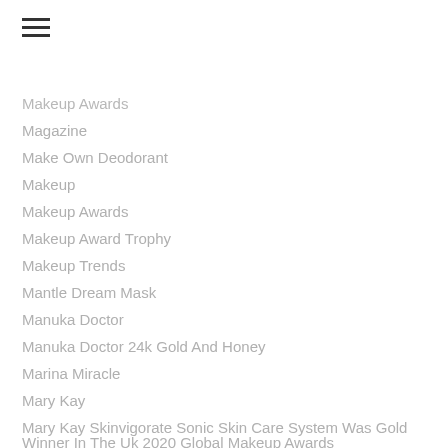Makeup Awards
Magazine
Make Own Deodorant
Makeup
Makeup Awards
Makeup Award Trophy
Makeup Trends
Mantle Dream Mask
Manuka Doctor
Manuka Doctor 24k Gold And Honey
Marina Miracle
Mary Kay
Mary Kay Skinvigorate Sonic Skin Care System Was Gold Winner In The Uk 2020 Global Makeup Awards
Medeau Origin
Men's Makeup
Men's Skincare
Mid Day Floral Spray